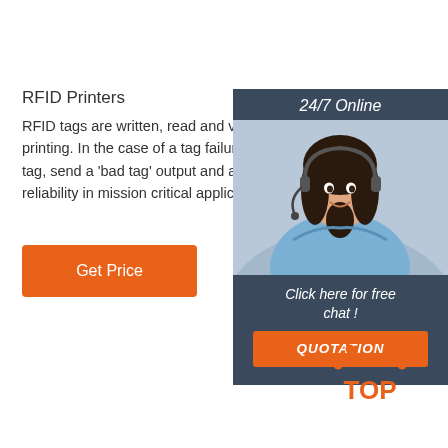RFID Printers
RFID tags are written, read and verified inside the p printing. In the case of a tag failure, the RFID printe tag, send a 'bad tag' output and advance to the next reliability in mission critical applications. Configure y
[Figure (other): Orange 'Get Price' button]
[Figure (other): 24/7 Online chat widget with woman wearing headset, 'Click here for free chat!' text, and orange QUOTATION button]
[Figure (other): Orange and dark 'TOP' back-to-top button with arrow dots]